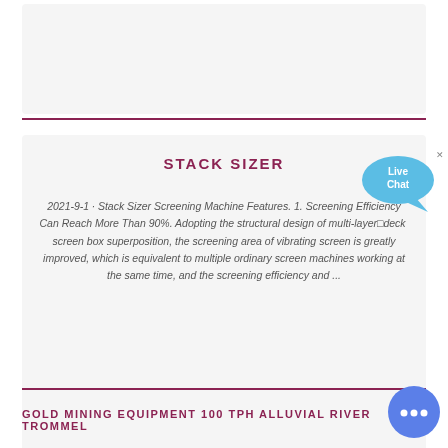[Figure (other): Top gray card area (image/content placeholder)]
STACK SIZER
2021-9-1 · Stack Sizer Screening Machine Features. 1. Screening Efficiency Can Reach More Than 90%. Adopting the structural design of multi-layer deck screen box superposition, the screening area of vibrating screen is greatly improved, which is equivalent to multiple ordinary screen machines working at the same time, and the screening efficiency and ...
GOLD MINING EQUIPMENT 100 TPH ALLUVIAL RIVER TROMMEL